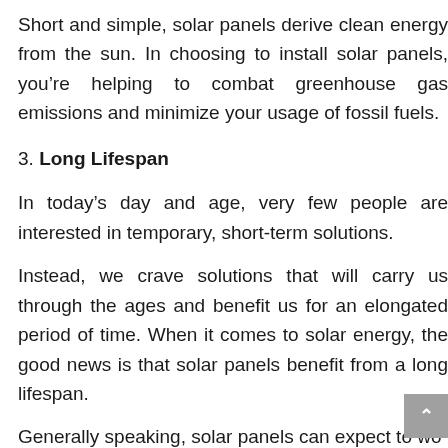Short and simple, solar panels derive clean energy from the sun. In choosing to install solar panels, you're helping to combat greenhouse gas emissions and minimize your usage of fossil fuels.
3. Long Lifespan
In today's day and age, very few people are interested in temporary, short-term solutions.
Instead, we crave solutions that will carry us through the ages and benefit us for an elongated period of time. When it comes to solar energy, the good news is that solar panels benefit from a long lifespan.
Generally speaking, solar panels can expect to wo